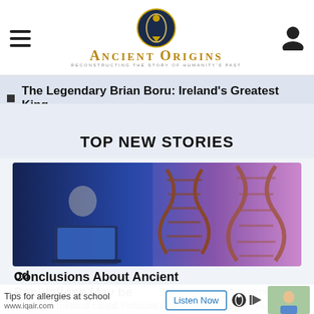Ancient Origins — Reconstructing the story of humanity's past
The Legendary Brian Boru: Ireland's Greatest King
TOP NEW STORIES
[Figure (photo): Scientist working on laptop with DNA double helix strands in background, blue and purple tones]
Conclusions About Ancient Populations May be [biased]
Tips for allergies at school
www.iqair.com
rs in genetics employ a method called Principal Component Analysis. But new research shows this method is highly biased. This means that